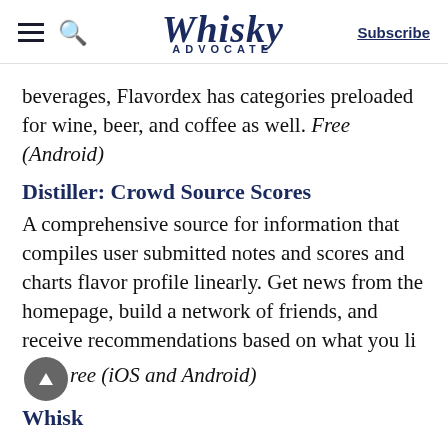Whisky Advocate — Subscribe
beverages, Flavordex has categories preloaded for wine, beer, and coffee as well. Free (Android)
Distiller: Crowd Source Scores
A comprehensive source for information that compiles user submitted notes and scores and charts flavor profile linearly. Get news from the homepage, build a network of friends, and receive recommendations based on what you like. Free (iOS and Android)
Whisk... [partial]